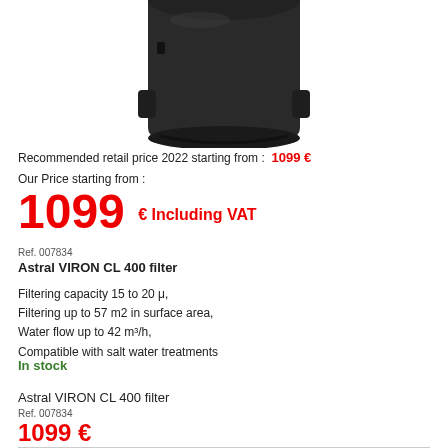[Figure (photo): Dark cylindrical pool filter unit (Astral VIRON CL 400 filter), top portion visible against white background]
Recommended retail price 2022 starting from : 1099 €
Our Price starting from :
1099 € Including VAT
Ref. 007834
Astral VIRON CL 400 filter
Filtering capacity 15 to 20 μ,
Filtering up to 57 m2 in surface area,
Water flow up to 42 m³/h,
Compatible with salt water treatments
In stock
Astral VIRON CL 400 filter
Ref. 007834
1099 €